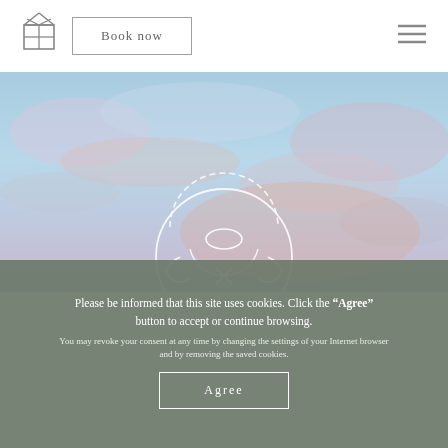[Figure (logo): House/cabin logo icon in outline style]
Book now
[Figure (illustration): Sky background with pink and blue clouds, with a white circular emblem/logo overlaid at center-bottom]
Please be informed that this site uses cookies. Click the “Agree” button to accept or continue browsing.
You may revoke your consent at any time by changing the settings of your Internet browser and by removing the saved cookies.
Agree